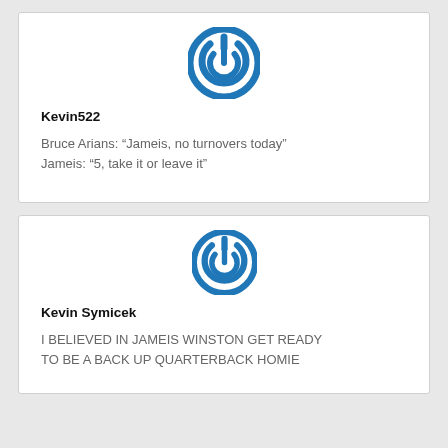[Figure (logo): Blue power button icon (circle with power symbol) used as user avatar]
Kevin522
Bruce Arians: “Jameis, no turnovers today” Jameis: “5, take it or leave it”
[Figure (logo): Blue power button icon (circle with power symbol) used as user avatar]
Kevin Symicek
I BELIEVED IN JAMEIS WINSTON GET READY TO BE A BACK UP QUARTERBACK HOMIE